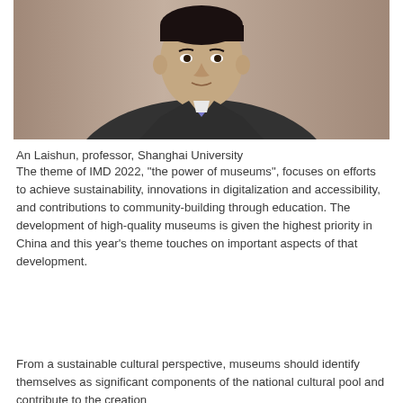[Figure (photo): Portrait photo of An Laishun, a man in a dark suit with a purple/blue tie, photographed from the chest up against a warm brown/beige background.]
An Laishun, professor, Shanghai University
The theme of IMD 2022, "the power of museums", focuses on efforts to achieve sustainability, innovations in digitalization and accessibility, and contributions to community-building through education. The development of high-quality museums is given the highest priority in China and this year's theme touches on important aspects of that development.
From a sustainable cultural perspective, museums should identify themselves as significant components of the national cultural pool and contribute to the creation